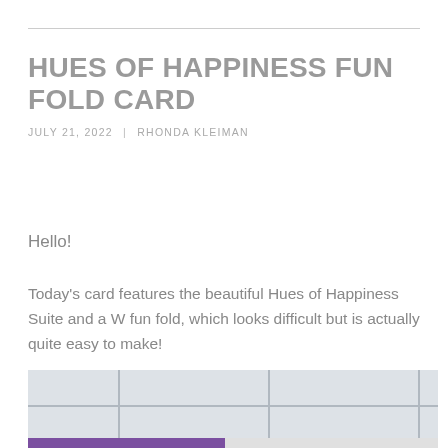HUES OF HAPPINESS FUN FOLD CARD
JULY 21, 2022  |  RHONDA KLEIMAN
Hello!
Today's card features the beautiful Hues of Happiness Suite and a W fun fold, which looks difficult but is actually quite easy to make!
[Figure (photo): Partial photo showing a handmade card with a tile/grid background pattern in light grey-blue tones, and a purple element visible at the bottom edge.]